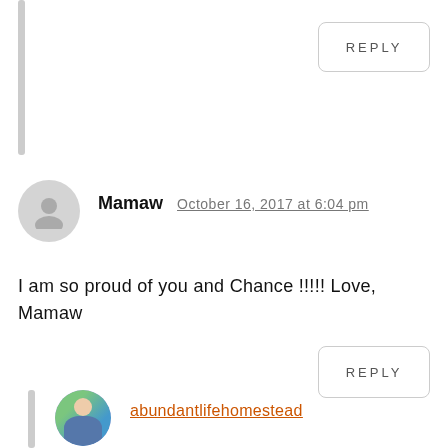REPLY
Mamaw  October 16, 2017 at 6:04 pm
I am so proud of you and Chance !!!!! Love, Mamaw
REPLY
abundantlifehomestead